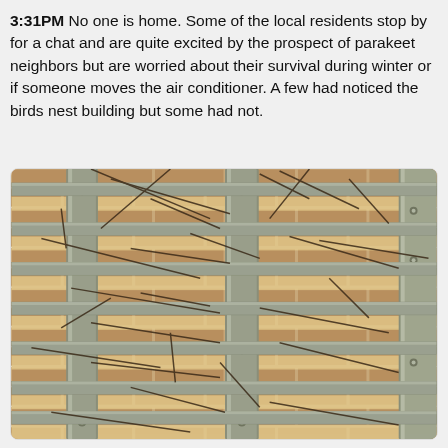3:31PM No one is home. Some of the local residents stop by for a chat and are quite excited by the prospect of parakeet neighbors but are worried about their survival during winter or if someone moves the air conditioner. A few had noticed the birds nest building but some had not.
[Figure (photo): Close-up photo of a metal air conditioner grille or louvered vent with horizontal metal slats and two vertical support bars with bolt holes, against a brick wall background. Thin twigs/sticks (parakeet nest materials) visible between the slats.]